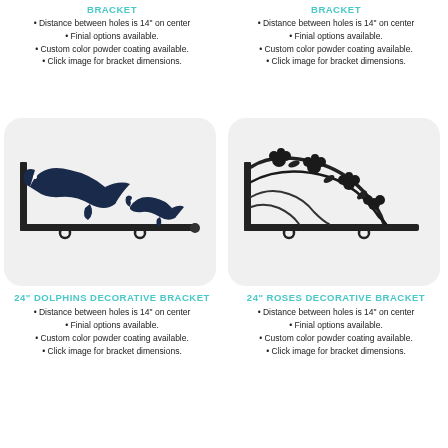BRACKET
Distance between holes is 14" on center
Finial options available.
Custom color powder coating available.
Click image for bracket dimensions.
BRACKET
Distance between holes is 14" on center
Finial options available.
Custom color powder coating available.
Click image for bracket dimensions.
[Figure (illustration): Decorative bracket with dolphin silhouettes – two dolphins leaping over a horizontal bar with mounting holes]
[Figure (illustration): Decorative bracket with roses/vines silhouettes – ornate floral vine design over a horizontal bar with mounting holes]
24" DOLPHINS DECORATIVE BRACKET
Distance between holes is 14" on center
Finial options available.
Custom color powder coating available.
Click image for bracket dimensions.
24" ROSES DECORATIVE BRACKET
Distance between holes is 14" on center
Finial options available.
Custom color powder coating available.
Click image for bracket dimensions.